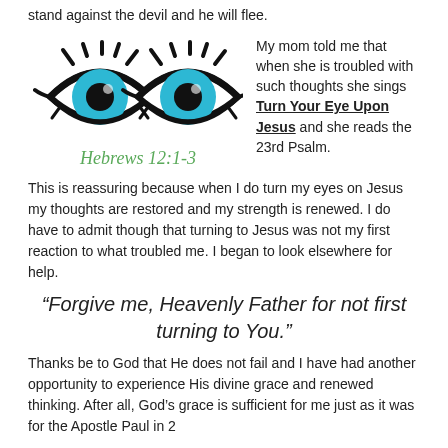stand against the devil and he will flee.
[Figure (illustration): Two stylized cartoon eyes with blue irises and black lashes, drawn in a bold graphic style. Below the eyes is the handwritten-style text 'Hebrews 12:1-3' in green cursive.]
My mom told me that when she is troubled with such thoughts she sings Turn Your Eye Upon Jesus and she reads the 23rd Psalm.
This is reassuring because when I do turn my eyes on Jesus my thoughts are restored and my strength is renewed. I do have to admit though that turning to Jesus was not my first reaction to what troubled me. I began to look elsewhere for help.
“Forgive me, Heavenly Father for not first turning to You.”
Thanks be to God that He does not fail and I have had another opportunity to experience His divine grace and renewed thinking. After all, God’s grace is sufficient for me just as it was for the Apostle Paul in 2